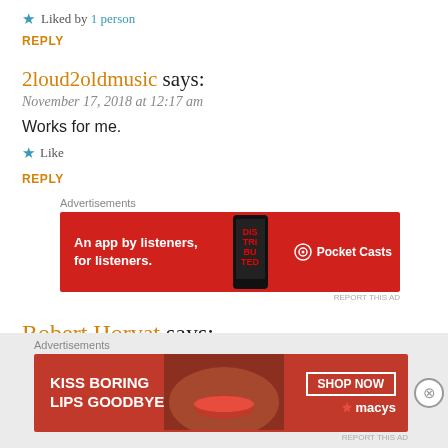★ Liked by 1 person
REPLY
2loud2oldmusic says:
November 17, 2018 at 12:17 am
Works for me.
★ Like
REPLY
[Figure (other): Pocket Casts advertisement banner: red background, phone device image, text 'An app by listeners, for listeners.' with Pocket Casts logo]
Robert Horvat says:
[Figure (other): Macy's advertisement banner: red background with model's face, text 'KISS BORING LIPS GOODBYE', SHOP NOW button and Macy's star logo]